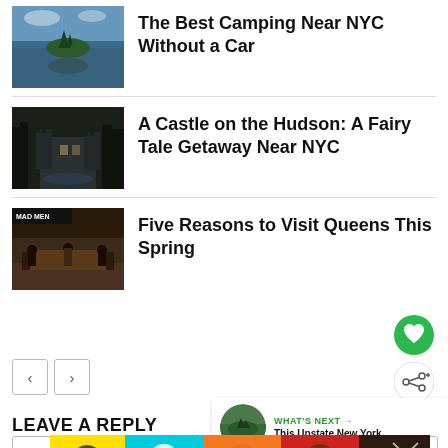[Figure (photo): Landscape photo of a lake with a small island and trees, used as thumbnail for camping article]
The Best Camping Near NYC Without a Car
[Figure (photo): Dark aerial photo of a castle surrounded by forest, used as thumbnail for castle article]
A Castle on the Hudson: A Fairy Tale Getaway Near NYC
[Figure (photo): Mad Men TV show image used as thumbnail for Queens article]
Five Reasons to Visit Queens This Spring
[Figure (infographic): Wash Your Hands Often advertisement banner with colorful hand icons on multi-colored background]